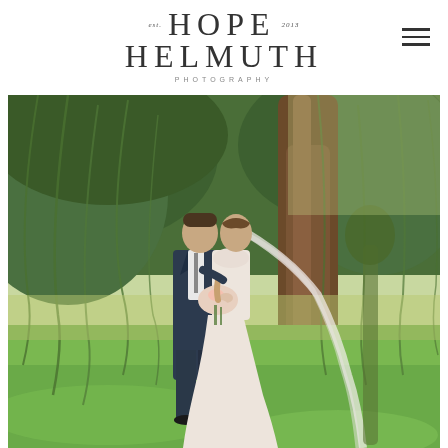EST. HOPE HELMUTH 2013 PHOTOGRAPHY
[Figure (photo): Wedding portrait of a couple kissing under a large weeping willow tree on a green lawn. The groom wears a dark navy suit, the bride wears a white lace gown with a long veil and holds a floral bouquet. Lush green foliage and farmland visible in the background.]